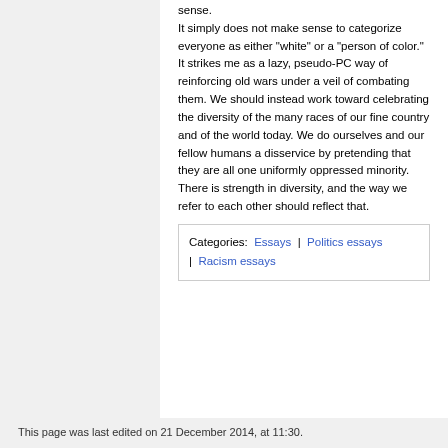sense.
It simply does not make sense to categorize everyone as either "white" or a "person of color." It strikes me as a lazy, pseudo-PC way of reinforcing old wars under a veil of combating them. We should instead work toward celebrating the diversity of the many races of our fine country and of the world today. We do ourselves and our fellow humans a disservice by pretending that they are all one uniformly oppressed minority. There is strength in diversity, and the way we refer to each other should reflect that.
Categories:  Essays  |  Politics essays  |  Racism essays
This page was last edited on 21 December 2014, at 11:30.